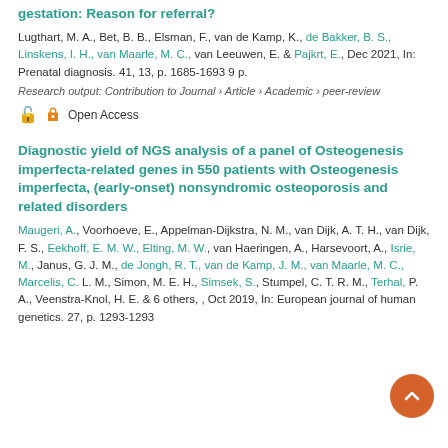gestation: Reason for referral?
Lugthart, M. A., Bet, B. B., Elsman, F., van de Kamp, K., de Bakker, B. S., Linskens, I. H., van Maarle, M. C., van Leeuwen, E. & Pajkrt, E., Dec 2021, In: Prenatal diagnosis. 41, 13, p. 1685-1693 9 p.
Research output: Contribution to Journal › Article › Academic › peer-review
Open Access
Diagnostic yield of NGS analysis of a panel of Osteogenesis imperfecta-related genes in 550 patients with Osteogenesis imperfecta, (early-onset) nonsyndromic osteoporosis and related disorders
Maugeri, A., Voorhoeve, E., Appelman-Dijkstra, N. M., van Dijk, A. T. H., van Dijk, F. S., Eekhoff, E. M. W., Elting, M. W., van Haeringen, A., Harsevoort, A., Isrie, M., Janus, G. J. M., de Jongh, R. T., van de Kamp, J. M., van Maarle, M. C., Marcelis, C. L. M., Simon, M. E. H., Simsek, S., Stumpel, C. T. R. M., Terhal, P. A., Veenstra-Knol, H. E. & 6 others, , Oct 2019, In: European journal of human genetics. 27, p. 1293-1293